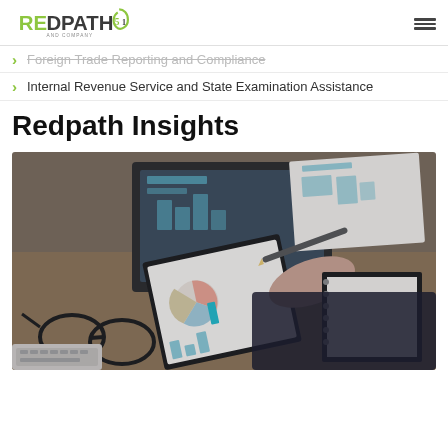Redpath and Company logo | hamburger menu
Foreign Trade Reporting and Compliance (strikethrough)
Internal Revenue Service and State Examination Assistance
Redpath Insights
[Figure (photo): Business professional writing on clipboard with charts, laptop, glasses, and financial reports on a desk]